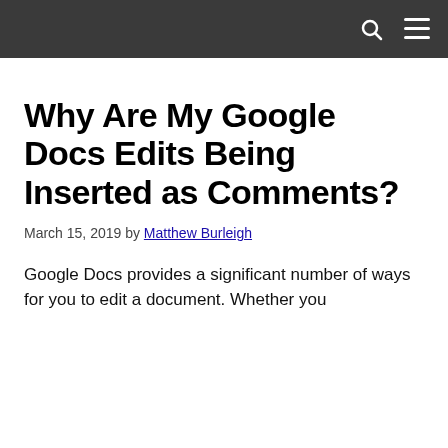Why Are My Google Docs Edits Being Inserted as Comments?
March 15, 2019 by Matthew Burleigh
Google Docs provides a significant number of ways for you to edit a document. Whether you